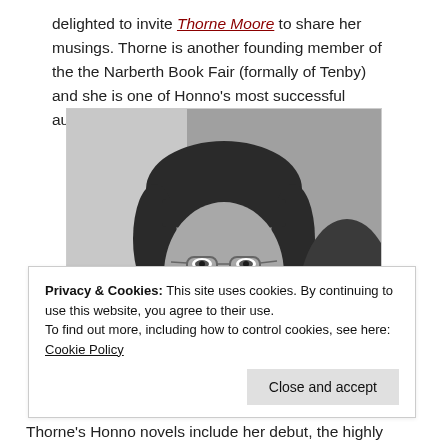delighted to invite Thorne Moore to share her musings. Thorne is another founding member of the the Narberth Book Fair (formally of Tenby) and she is one of Honno's most successful authors.
[Figure (photo): Black and white portrait photo of a woman with dark hair and glasses, resting her chin on her hand, looking at the camera.]
Privacy & Cookies: This site uses cookies. By continuing to use this website, you agree to their use.
To find out more, including how to control cookies, see here: Cookie Policy
Close and accept
Thorne's Honno novels include her debut, the highly